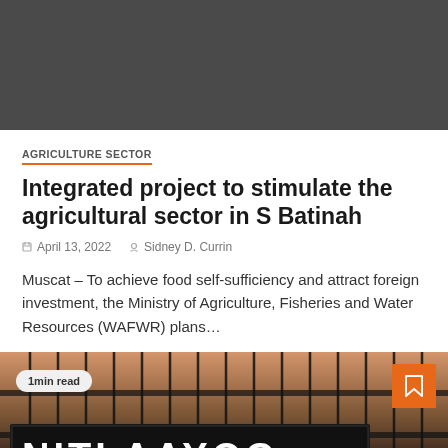[Figure (photo): Dark gray/charcoal hero image at the top of the article]
AGRICULTURE SECTOR
Integrated project to stimulate the agricultural sector in S Batinah
April 13, 2022   Sidney D. Currin
Muscat – To achieve food self-sufficiency and attract foreign investment, the Ministry of Agriculture, Fisheries and Water Resources (WAFWR) plans…
[Figure (photo): Photo of NITI AAYOG signage with fence/gate visible, with a '1min read' badge and orange bookmark button overlay]